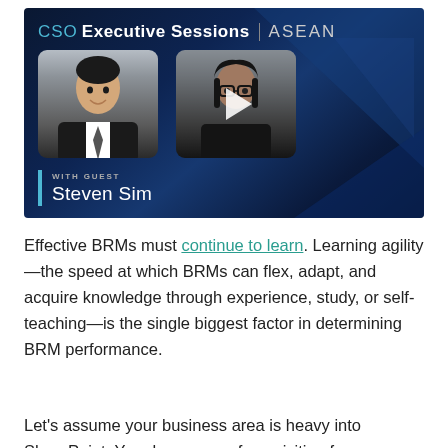[Figure (screenshot): Video thumbnail for CSO Executive Sessions ASEAN featuring guest Steven Sim. Dark blue background with geometric shapes. Two portrait photos side by side — a man in a suit on the left, a woman with glasses on the right. A play button overlay appears on the right photo. Text 'WITH GUEST' above and 'Steven Sim' below with a blue accent bar on the left.]
Effective BRMs must continue to learn. Learning agility—the speed at which BRMs can flex, adapt, and acquire knowledge through experience, study, or self-teaching—is the single biggest factor in determining BRM performance.
Let's assume your business area is heavy into SharePoint. Your key areas of acquisition for...